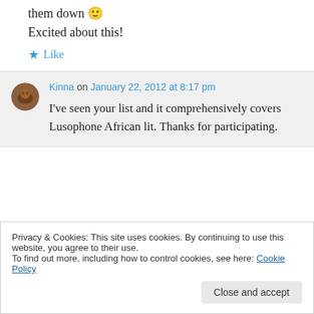them down 🙂
Excited about this!
★ Like
Kinna on January 22, 2012 at 8:17 pm
I've seen your list and it comprehensively covers Lusophone African lit. Thanks for participating.
Privacy & Cookies: This site uses cookies. By continuing to use this website, you agree to their use.
To find out more, including how to control cookies, see here: Cookie Policy